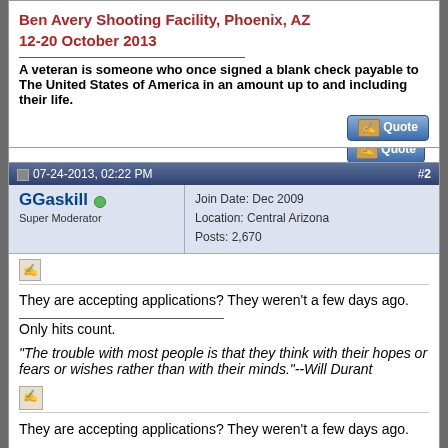Ben Avery Shooting Facility, Phoenix, AZ
12-20 October 2013
A veteran is someone who once signed a blank check payable to The United States of America in an amount up to and including their life.
07-24-2013, 02:22 PM  #2
GGaskill
Super Moderator
Join Date: Dec 2009
Location: Central Arizona
Posts: 2,670
They are accepting applications? They weren't a few days ago.
Only hits count.
"The trouble with most people is that they think with their hopes or fears or wishes rather than with their minds."--Will Durant
07-24-2013, 02:53 PM  #3
Join Date: Oct 2009